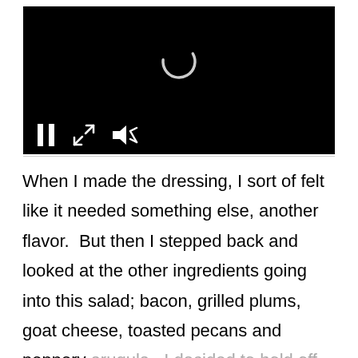[Figure (screenshot): A black video player with a loading spinner in the center and playback controls (pause, fullscreen, mute) at the bottom left.]
When I made the dressing, I sort of felt like it needed something else, another flavor.  But then I stepped back and looked at the other ingredients going into this salad; bacon, grilled plums, goat cheese, toasted pecans and peppery arugula.  I decided to hold off adding anything and I'm glad I did.